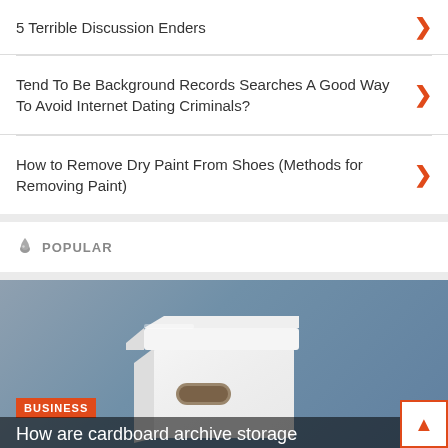5 Terrible Discussion Enders
Tend To Be Background Records Searches A Good Way To Avoid Internet Dating Criminals?
How to Remove Dry Paint From Shoes (Methods for Removing Paint)
POPULAR
[Figure (photo): White cardboard archive storage box with lid, photographed on a blue-grey gradient background]
How are cardboard archive storage